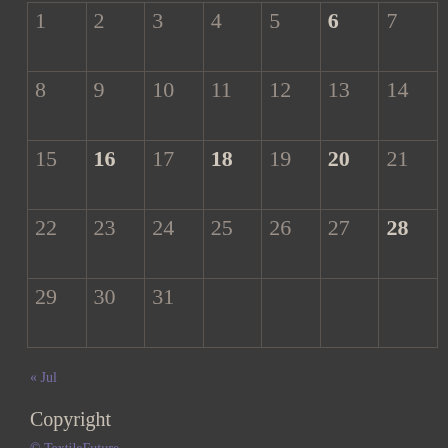| 1 | 2 | 3 | 4 | 5 | 6 | 7 |
| 8 | 9 | 10 | 11 | 12 | 13 | 14 |
| 15 | 16 | 17 | 18 | 19 | 20 | 21 |
| 22 | 23 | 24 | 25 | 26 | 27 | 28 |
| 29 | 30 | 31 |  |  |  |  |
« Jul
Copyright
© TextileFuture
read our Terms & Conditions